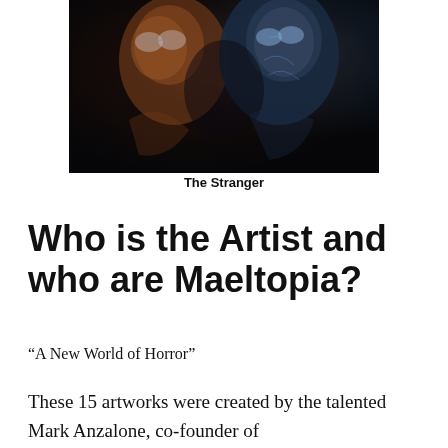[Figure (photo): Dark digital artwork showing two figures, one human-like and one robotic/alien with a blue metallic appearance, facing each other against a dark background]
The Stranger
Who is the Artist and who are Maeltopia?
“A New World of Horror”
These 15 artworks were created by the talented Mark Anzalone, co-founder of Maeltopia, and his digital artwork